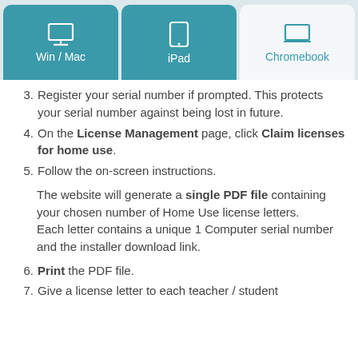[Figure (other): Tab navigation bar with three tabs: Win / Mac (teal, active-style), iPad (teal), Chromebook (light/selected, teal text and icon)]
3. Register your serial number if prompted. This protects your serial number against being lost in future.
4. On the License Management page, click Claim licenses for home use.
5. Follow the on-screen instructions.
The website will generate a single PDF file containing your chosen number of Home Use license letters. Each letter contains a unique 1 Computer serial number and the installer download link.
6. Print the PDF file.
7. Give a license letter to each teacher / student